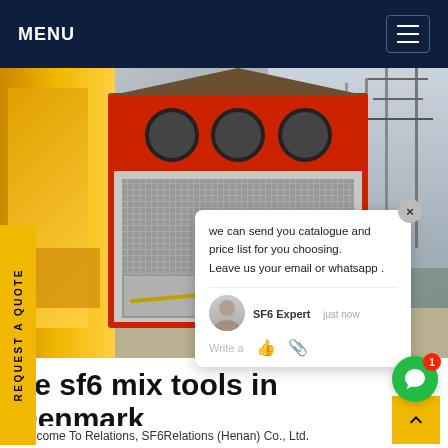MENU
[Figure (photo): SF6 gas handling equipment / yellow machine and red-grey cabinet on a truck or trailer at an industrial substation site with power line structures in background]
REQUEST A QUOTE
we can send you catalogue and price list for you choosing. Leave us your email or whatsapp . SF6 Expert   just now  Write a
ge sf6 mix tools in Denmark
Welcome To Relations, SF6Relations (Henan) Co., Ltd.